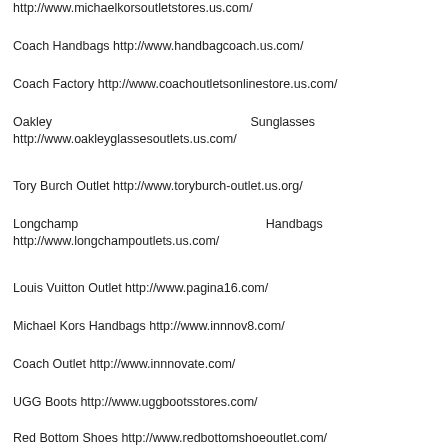http://www.michaelkorsoutletstores.us.com/
Coach Handbags http://www.handbagcoach.us.com/
Coach Factory http://www.coachoutletsonlinestore.us.com/
Oakley Sunglasses http://www.oakleyglassesoutlets.us.com/
Tory Burch Outlet http://www.toryburch-outlet.us.org/
Longchamp Handbags http://www.longchampoutlets.us.com/
Louis Vuitton Outlet http://www.pagina16.com/
Michael Kors Handbags http://www.innnov8.com/
Coach Outlet http://www.innnovate.com/
UGG Boots http://www.uggbootsstores.com/
Red Bottom Shoes http://www.redbottomshoeoutlet.com/